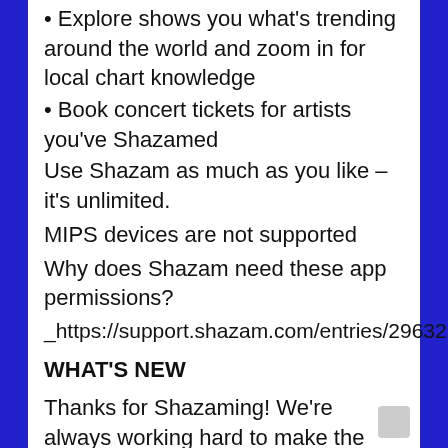• Explore shows you what's trending around the world and zoom in for local chart knowledge
• Book concert tickets for artists you've Shazamed
Use Shazam as much as you like – it's unlimited.
MIPS devices are not supported
Why does Shazam need these app permissions?
_https://support.shazam.com/entries/29632198
WHAT'S NEW
Thanks for Shazaming! We're always working hard to make the app faster and better than ever. Update to the most recent version to enjoy the latest and greatest Shazam.